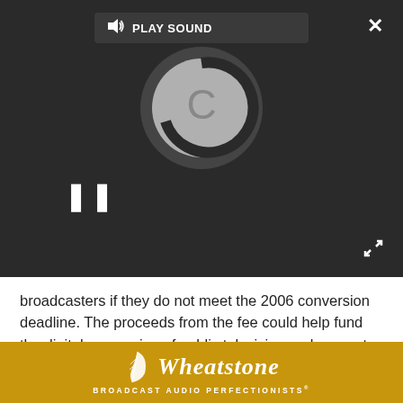[Figure (screenshot): Media player interface with dark background showing a loading spinner, play sound bar, pause button, close X, and expand icon]
broadcasters if they do not meet the 2006 conversion deadline. The proceeds from the fee could help fund the digital conversion of public television and support programming that serves the public but is not provided by the market.
During the speech, Kennard said broadcasters disregarded their public interest obligations. "Broadcasters cannot delegate their obligation to act in the public interest.
"Never again," he said, "should a major network miss
[Figure (logo): Wheatstone Broadcast Audio Perfectionists advertisement banner with golden background and white feather logo]